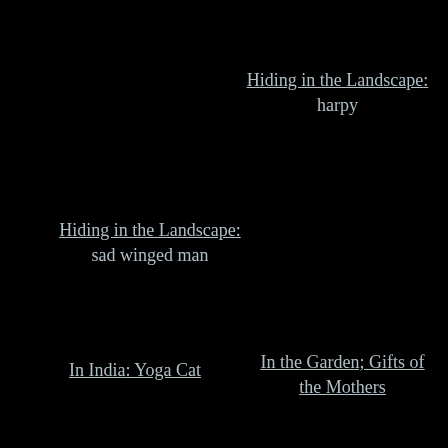Hiding in the Landscape: harpy
Hiding in the Landscape: sad winged man
In India: Yoga Cat
In the Garden; Gifts of the Mothers